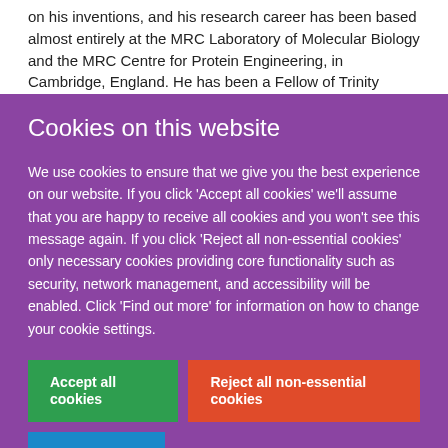on his inventions, and his research career has been based almost entirely at the MRC Laboratory of Molecular Biology and the MRC Centre for Protein Engineering, in Cambridge, England. He has been a Fellow of Trinity College Cambridge
Cookies on this website
We use cookies to ensure that we give you the best experience on our website. If you click 'Accept all cookies' we'll assume that you are happy to receive all cookies and you won't see this message again. If you click 'Reject all non-essential cookies' only necessary cookies providing core functionality such as security, network management, and accessibility will be enabled. Click 'Find out more' for information on how to change your cookie settings.
Accept all cookies
Reject all non-essential cookies
Find out more